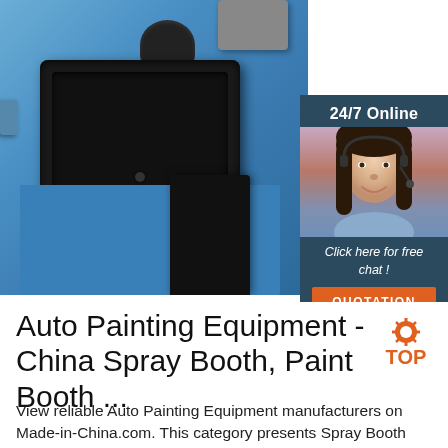[Figure (photo): Product photo of auto painting equipment (paint booth machine with blue metal body and black tray/sink component). Overlaid with a customer service chat widget showing '24/7 Online', a female agent with headset, 'Click here for free chat!' text, and an orange QUOTATION button.]
Auto Painting Equipment - China Spray Booth, Paint Booth ...
View reliable Auto Painting Equipment manufacturers on Made-in-China.com. This category presents Spray Booth